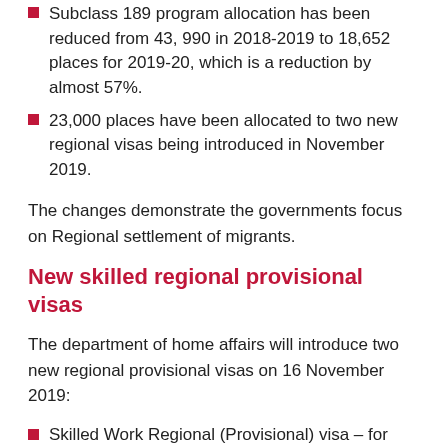Subclass 189 program allocation has been reduced from 43, 990 in 2018-2019 to 18,652 places for 2019-20, which is a reduction by almost 57%.
23,000 places have been allocated to two new regional visas being introduced in November 2019.
The changes demonstrate the governments focus on Regional settlement of migrants.
New skilled regional provisional visas
The department of home affairs will introduce two new regional provisional visas on 16 November 2019:
Skilled Work Regional (Provisional) visa – for applicants nominated by State or Territory government or sponsored by an eligible family